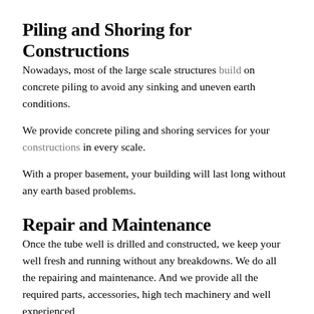Piling and Shoring for Constructions
Nowadays, most of the large scale structures build on concrete piling to avoid any sinking and uneven earth conditions.
We provide concrete piling and shoring services for your constructions in every scale.
With a proper basement, your building will last long without any earth based problems.
Repair and Maintenance
Once the tube well is drilled and constructed, we keep your well fresh and running without any breakdowns. We do all the repairing and maintenance. And we provide all the required parts, accessories, high tech machinery and well experienced